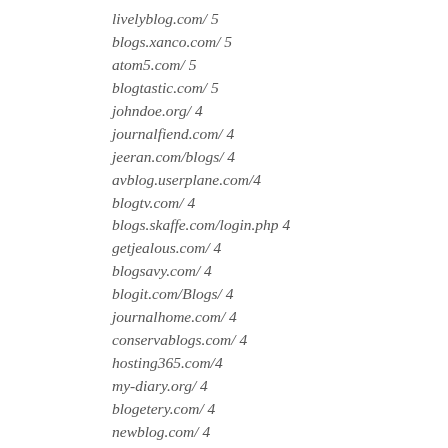livelyblog.com/ 5
blogs.xanco.com/ 5
atom5.com/ 5
blogtastic.com/ 5
johndoe.org/ 4
journalfiend.com/ 4
jeeran.com/blogs/ 4
avblog.userplane.com/4
blogtv.com/ 4
blogs.skaffe.com/login.php 4
getjealous.com/ 4
blogsavy.com/ 4
blogit.com/Blogs/ 4
journalhome.com/ 4
conservablogs.com/ 4
hosting365.com/4
my-diary.org/ 4
blogetery.com/ 4
newblog.com/ 4